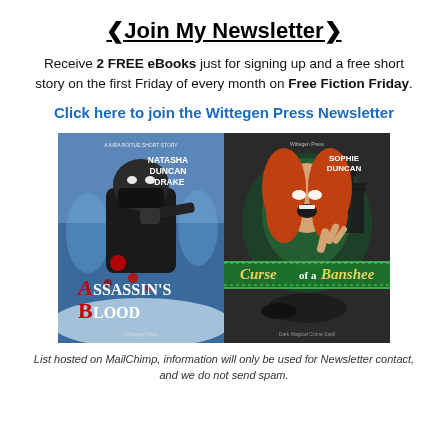❮Join My Newsletter❯
Receive 2 FREE eBooks just for signing up and a free short story on the first Friday of every month on Free Fiction Friday.
Click here to join the Wittegen Press Newsletter
[Figure (illustration): Two book covers side by side. Left: 'Assassin's Blood' by Natasha Duncan-Drake, a dark thriller cover showing a person in winter gear pointing a gun with blood splatter. Right: 'Curse of a Banshee' by Sophie Duncan, a paranormal cover showing a woman with red hair and glowing eyes.]
List hosted on MailChimp, information will only be used for Newsletter contact, and we do not send spam.